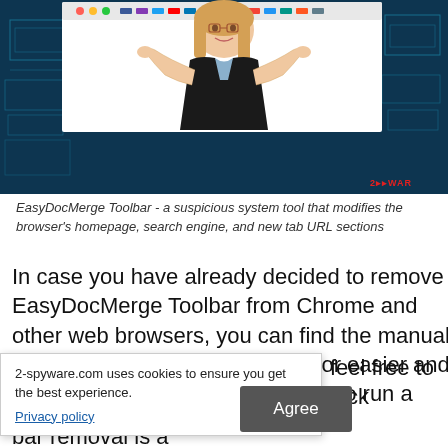[Figure (screenshot): Screenshot of a webpage showing a woman in a dark blazer with her hands raised in a shrugging gesture against a digital blue background. A white browser window is visible behind her. A red watermark '2-spyware WAR' appears in the bottom right corner.]
EasyDocMerge Toolbar - a suspicious system tool that modifies the browser's homepage, search engine, and new tab URL sections
In case you have already decided to remove EasyDocMerge Toolbar from Chrome and other web browsers, you can find the manual guide at the end of the article. For easier and more effective elimination, chose to run a computer program
2-spyware.com uses cookies to ensure you get the best experience.
Privacy policy
Agree
feel free to pick
o.
bar removal is a